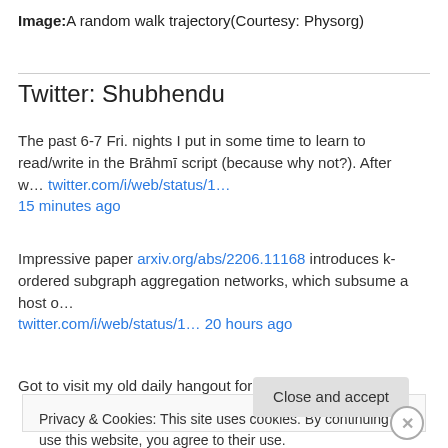Image:A random walk trajectory(Courtesy: Physorg)
Twitter: Shubhendu
The past 6-7 Fri. nights I put in some time to learn to read/write in the Brāhmī script (because why not?). After w… twitter.com/i/web/status/1… 15 minutes ago
Impressive paper arxiv.org/abs/2206.11168 introduces k-ordered subgraph aggregation networks, which subsume a host o… twitter.com/i/web/status/1… 20 hours ago
Got to visit my old daily hangout for a bit in the evening.
Privacy & Cookies: This site uses cookies. By continuing to use this website, you agree to their use.
To find out more, including how to control cookies, see here: Cookie Policy